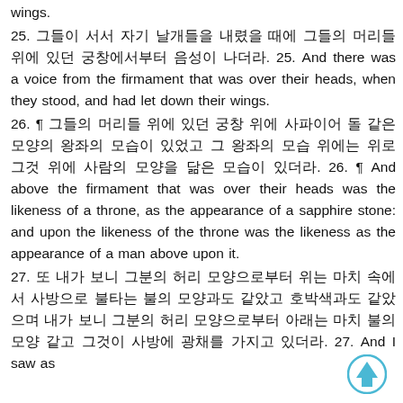wings.
25. 그들이 서서 자기 날개들을 내렸을 때에 그들의 머리들 위에 있던 궁창에서부터 음성이 나더라. 25. And there was a voice from the firmament that was over their heads, when they stood, and had let down their wings.
26. ¶ 그들의 머리들 위에 있던 궁창 위에 사파이어 돌 같은 모양의 왕좌의 모습이 있었고 그 왕좌의 모습 위에는 위로 그것 위에 사람의 모양을 닮은 모습이 있더라. 26. ¶ And above the firmament that was over their heads was the likeness of a throne, as the appearance of a sapphire stone: and upon the likeness of the throne was the likeness as the appearance of a man above upon it.
27. 또 내가 보니 그분의 허리 모양으로부터 위는 마치 속에서 사방으로 불타는 불의 모양과도 같았고 호박색과도 같았으며 내가 보니 그분의 허리 모양으로부터 아래는 마치 불의 모양 같고 그것이 사방에 광채를 가지고 있더라. 27. And I saw as